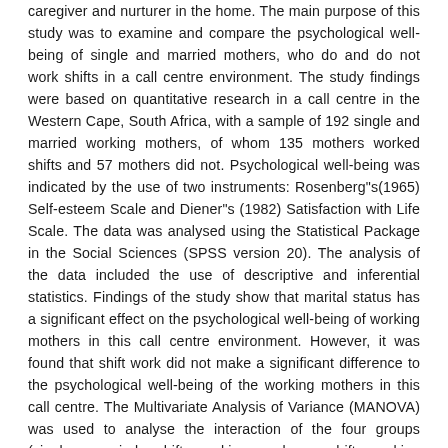caregiver and nurturer in the home. The main purpose of this study was to examine and compare the psychological well-being of single and married mothers, who do and do not work shifts in a call centre environment. The study findings were based on quantitative research in a call centre in the Western Cape, South Africa, with a sample of 192 single and married working mothers, of whom 135 mothers worked shifts and 57 mothers did not. Psychological well-being was indicated by the use of two instruments: Rosenberg"s(1965) Self-esteem Scale and Diener"s (1982) Satisfaction with Life Scale. The data was analysed using the Statistical Package in the Social Sciences (SPSS version 20). The analysis of the data included the use of descriptive and inferential statistics. Findings of the study show that marital status has a significant effect on the psychological well-being of working mothers in this call centre environment. However, it was found that shift work did not make a significant difference to the psychological well-being of the working mothers in this call centre. The Multivariate Analysis of Variance (MANOVA) was used to analyse the interaction of the four groups (single, married, shift working and non-shift working mothers) and the results of this analysis showed that there was no significant difference in the interaction between the groups.Recommendations are provided in the study.